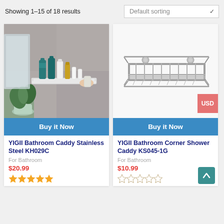Showing 1–15 of 18 results
Default sorting
[Figure (photo): Bathroom caddy shelf mounted on wall with skincare/toiletry products and a hand attaching it]
Buy it Now
YIGII Bathroom Caddy Stainless Steel KH029C
For Bathroom
$20.99
[Figure (other): 5 filled gold stars rating]
[Figure (photo): Wire metal bathroom corner shower caddy basket on white background]
Buy it Now
YIGII Bathroom Corner Shower Caddy KS045-1G
For Bathroom
$10.99
[Figure (other): 5 empty star rating (0 out of 5)]